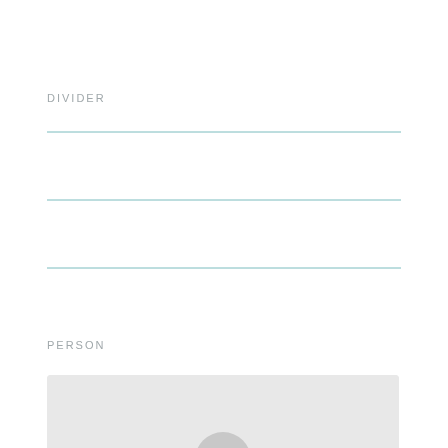DIVIDER
[Figure (illustration): Three horizontal teal divider lines spaced vertically]
PERSON
[Figure (illustration): Person placeholder image with gray background and avatar silhouette]